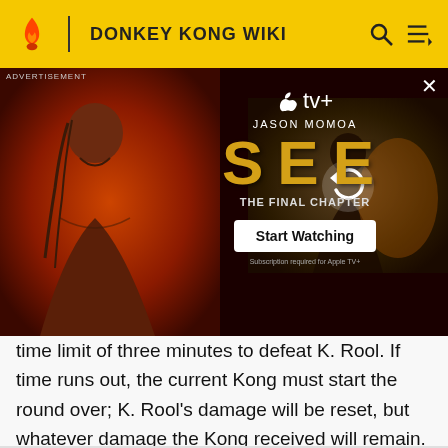DONKEY KONG WIKI
[Figure (photo): Apple TV+ advertisement for 'SEE: The Final Chapter' featuring Jason Momoa, with a Start Watching button and a loading/refresh video thumbnail on the right]
time limit of three minutes to defeat K. Rool. If time runs out, the current Kong must start the round over; K. Rool's damage will be reset, but whatever damage the Kong received will remain. Each new Kong begins with maximum health. If a Kong's health runs out, or if the Kongs fail to defeat K. Rool within twelve rounds, they must start the entire fight over.
Round One